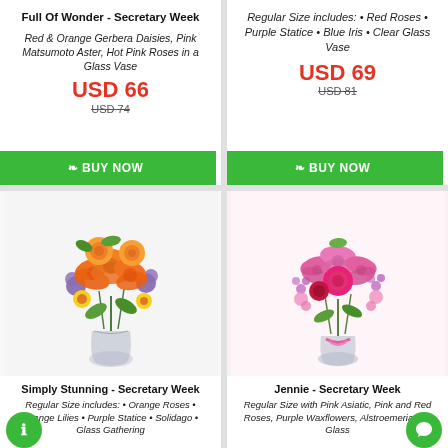Full Of Wonder - Secretary Week
Red & Orange Gerbera Daisies, Pink Matsumoto Aster, Hot Pink Roses in a Glass Vase
USD 66
USD 74
BUY NOW
Regular Size includes: • Red Roses • Purple Statice • Blue Iris • Clear Glass Vase
USD 69
USD 81
BUY NOW
[Figure (photo): Orange flower bouquet with orange lilies, orange roses, yellow gerbera daisies, purple statice in a glass vase]
Simply Stunning - Secretary Week
Regular Size includes: • Orange Roses • Orange Lilies • Purple Statice • Solidago • Glass Gathering
[Figure (photo): Pink flower bouquet with pink asiatic lilies, pink and red roses, purple waxflowers, alstroemeria in a glass vase with pink ribbon]
Jennie - Secretary Week
Regular Size with Pink Asiatic, Pink and Red Roses, Purple Waxflowers, Alstroemeria in a Glass